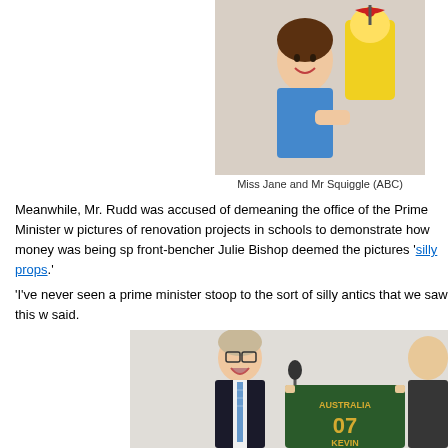[Figure (photo): Woman in blue shirt holding Mr Squiggle puppet (ABC photo)]
Miss Jane and Mr Squiggle (ABC)
Meanwhile, Mr. Rudd was accused of demeaning the office of the Prime Minister w... pictures of renovation projects in schools to demonstrate how money was being sp... front-bencher Julie Bishop deemed the pictures 'silly props.'
'I've never seen a prime minister stoop to the sort of silly antics that we saw this w... said.
[Figure (photo): Kevin Rudd laughing and holding an Australia 07 KEVIN jersey with another man]